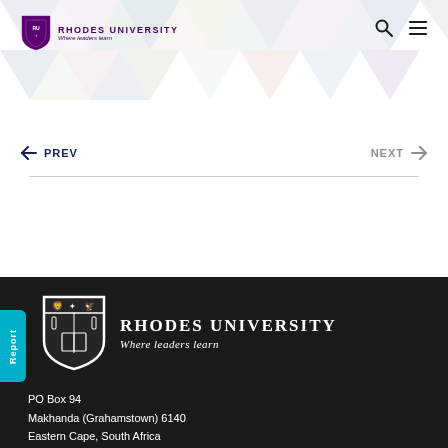[Figure (logo): Rhodes University logo with shield crest and text 'RHODES UNIVERSITY Where leaders learn' in header]
← PREV    NEXT →
[Figure (logo): Rhodes University white logo on dark footer: shield crest and 'RHODES UNIVERSITY Where leaders learn']
PO Box 94
Makhanda (Grahamstown) 6140
Eastern Cape, South Africa